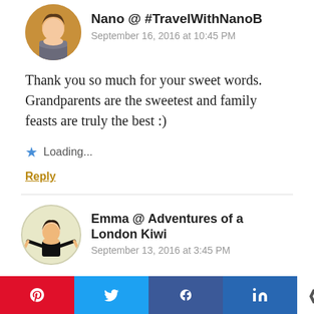[Figure (photo): Avatar photo of Nano, woman outdoors with autumn background]
Nano @ #TravelWithNanoB
September 16, 2016 at 10:45 PM
Thank you so much for your sweet words. Grandparents are the sweetest and family feasts are truly the best :)
Loading...
Reply
[Figure (photo): Avatar illustration of Emma, cartoon woman with arms out on light green circle background]
Emma @ Adventures of a London Kiwi
September 13, 2016 at 3:45 PM